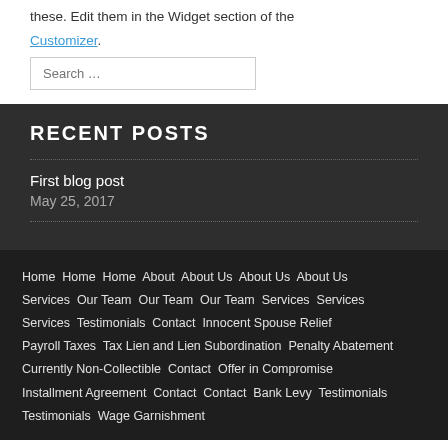these. Edit them in the Widget section of the Customizer.
Search …
RECENT POSTS
First blog post — May 25, 2017
Home Home Home About About Us About Us About Us Services Our Team Our Team Our Team Services Services Services Testimonials Contact Innocent Spouse Relief Payroll Taxes Tax Lien and Lien Subordination Penalty Abatement Currently Non-Collectible Contact Offer in Compromise Installment Agreement Contact Contact Bank Levy Testimonials Testimonials Wage Garnishment